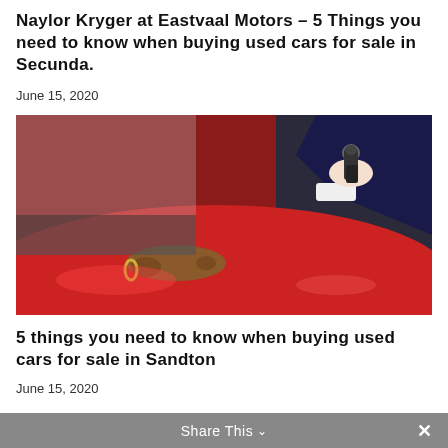Naylor Kryger at Eastvaal Motors – 5 Things you need to know when buying used cars for sale in Secunda.
June 15, 2020
[Figure (photo): Two hands handing over car keys in front of a red car in a dealership setting. One person wearing a dark suit sleeve, the other with a bracelet receiving the keys.]
5 things you need to know when buying used cars for sale in Sandton
June 15, 2020
Share This ∨  ×